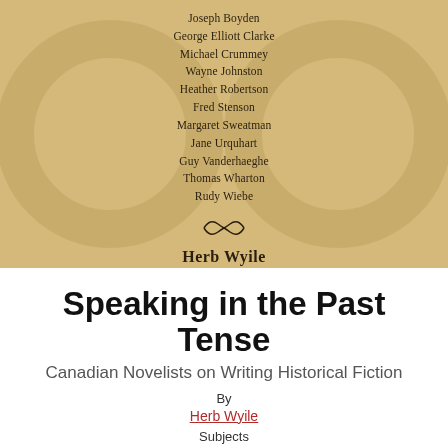[Figure (illustration): Book cover with tan/gold background showing a list of author names centered in dark text, a decorative ornament, and the author name 'Herb Wyile' in bold below]
Speaking in the Past Tense
Canadian Novelists on Writing Historical Fiction
By
Herb Wyile
Subjects
History, Canadian History, Literary Criticism, Canadian